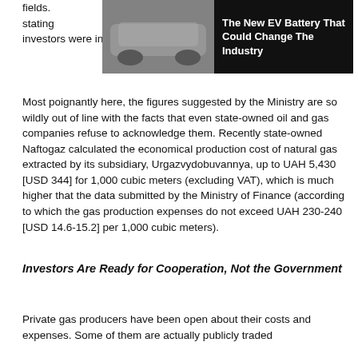fields. ide, stating investors were inflated.
[Figure (photo): Advertisement banner with car chassis image and text 'The New EV Battery That Could Change The Industry' on dark background]
Most poignantly here, the figures suggested by the Ministry are so wildly out of line with the facts that even state-owned oil and gas companies refuse to acknowledge them. Recently state-owned Naftogaz calculated the economical production cost of natural gas extracted by its subsidiary, Urgazvydobuvannya, up to UAH 5,430 [USD 344] for 1,000 cubic meters (excluding VAT), which is much higher that the data submitted by the Ministry of Finance (according to which the gas production expenses do not exceed UAH 230-240 [USD 14.6-15.2] per 1,000 cubic meters).
Investors Are Ready for Cooperation, Not the Government
Private gas producers have been open about their costs and expenses. Some of them are actually publicly traded